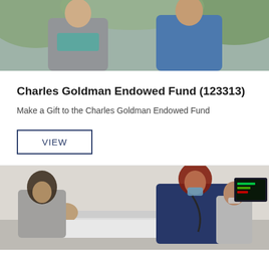[Figure (photo): Two people standing outdoors, one in a gray blazer and teal shirt, another in a blue shirt, with green foliage visible in the background.]
Charles Goldman Endowed Fund (123313)
Make a Gift to the Charles Goldman Endowed Fund
VIEW
[Figure (photo): Medical simulation lab scene with three people: a student with long dark hair leaning over a patient mannequin, a student with red hair using a stethoscope and wearing a mask, and a person in the background wearing a mask, with a medical monitor visible.]